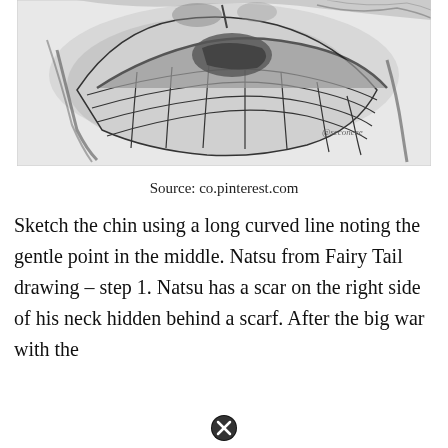[Figure (illustration): A pencil sketch showing a large grinning mouth/face with grid-like teeth pattern drawn in charcoal or pencil on white paper. The drawing has a circular composition with heavy shading. The artist's watermark '@seconeee' appears in the lower right of the image.]
Source: co.pinterest.com
Sketch the chin using a long curved line noting the gentle point in the middle. Natsu from Fairy Tail drawing – step 1. Natsu has a scar on the right side of his neck hidden behind a scarf. After the big war with the